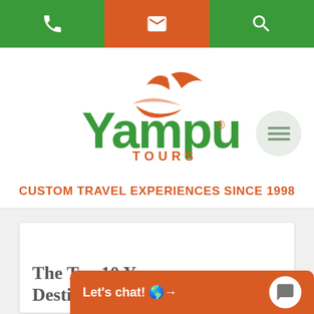[Figure (screenshot): Website navigation bar with phone, email, and search icons on green/orange background]
[Figure (logo): Yampu Tours logo with orange boat/bird icon and green Yampu text with orange TOURS subtitle]
CUSTOM TRAVEL EXPERIENCES SINCE 1998
The Top 10 Yampu Destinations...
Let's chat! →